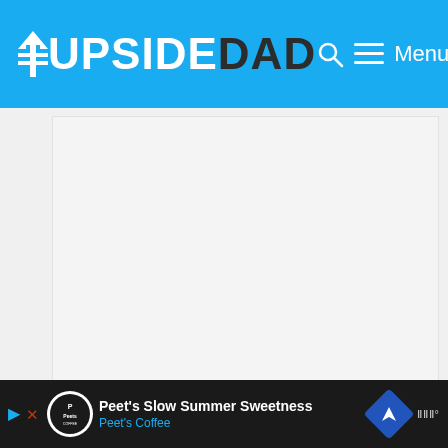UPSIDEDAD — Menu
[Figure (screenshot): Large white/light gray content area placeholder, likely an embedded video or image region]
[Figure (screenshot): Partially visible blue promotional section at bottom]
Peet's Slow Summer Sweetness — Peet's Coffee — advertisement banner